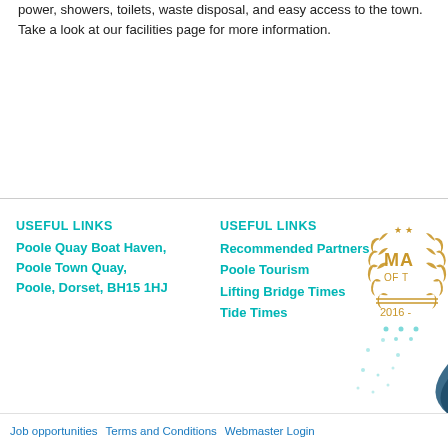power, showers, toilets, waste disposal, and easy access to the town. Take a look at our facilities page for more information.
USEFUL LINKS
Poole Quay Boat Haven,
Poole Town Quay,
Poole, Dorset, BH15 1HJ
USEFUL LINKS
Recommended Partners
Poole Tourism
Lifting Bridge Times
Tide Times
[Figure (logo): Marina award badge with stars and laurel wreath, text MA OF T, 2016-]
Job opportunities   Terms and Conditions   Webmaster Login